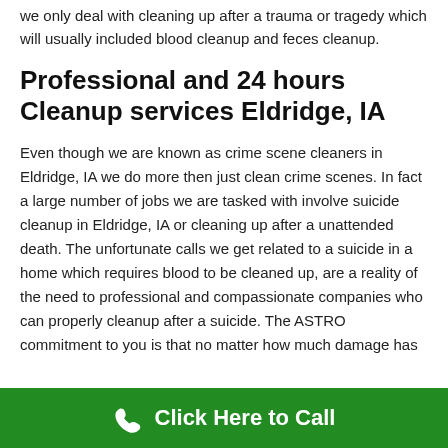we only deal with cleaning up after a trauma or tragedy which will usually included blood cleanup and feces cleanup.
Professional and 24 hours Cleanup services Eldridge, IA
Even though we are known as crime scene cleaners in Eldridge, IA we do more then just clean crime scenes. In fact a large number of jobs we are tasked with involve suicide cleanup in Eldridge, IA or cleaning up after a unattended death. The unfortunate calls we get related to a suicide in a home which requires blood to be cleaned up, are a reality of the need to professional and compassionate companies who can properly cleanup after a suicide. The ASTRO commitment to you is that no matter how much damage has
Click Here to Call